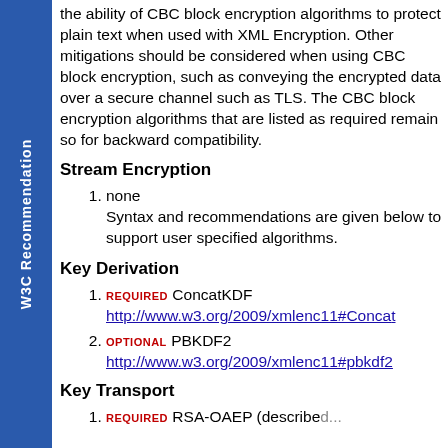the ability of CBC block encryption algorithms to protect plain text when used with XML Encryption. Other mitigations should be considered when using CBC block encryption, such as conveying the encrypted data over a secure channel such as TLS. The CBC block encryption algorithms that are listed as required remain so for backward compatibility.
Stream Encryption
1. none
Syntax and recommendations are given below to support user specified algorithms.
Key Derivation
1. REQUIRED ConcatKDF http://www.w3.org/2009/xmlenc11#Concat
2. OPTIONAL PBKDF2 http://www.w3.org/2009/xmlenc11#pbkdf2
Key Transport